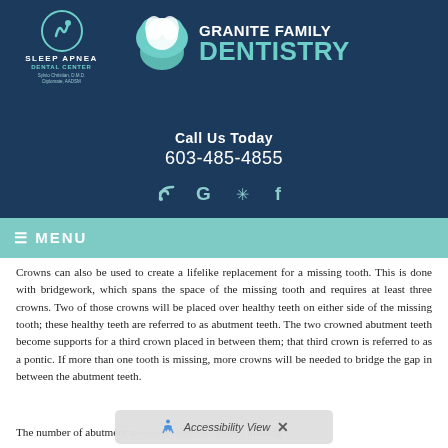[Figure (logo): Sleep Apnea Dental Center logo with circular icon and doctor name, on dark navy background]
[Figure (logo): Granite Family Dentistry logo with tooth icon, GRANITE FAMILY in white and DENTISTRY in teal]
Call Us Today
603-485-4855
[Figure (infographic): Social media icons: RSS feed, Google, Yelp, Facebook]
≡ MENU
Crowns can also be used to create a lifelike replacement for a missing tooth. This is done with bridgework, which spans the space of the missing tooth and requires at least three crowns. Two of those crowns will be placed over healthy teeth on either side of the missing tooth; these healthy teeth are referred to as abutment teeth. The two crowned abutment teeth become supports for a third crown placed in between them; that third crown is referred to as a pontic. If more than one tooth is missing, more crowns will be needed to bridge the gap in between the abutment teeth.
The number of abutment teeth necessary to replace missing